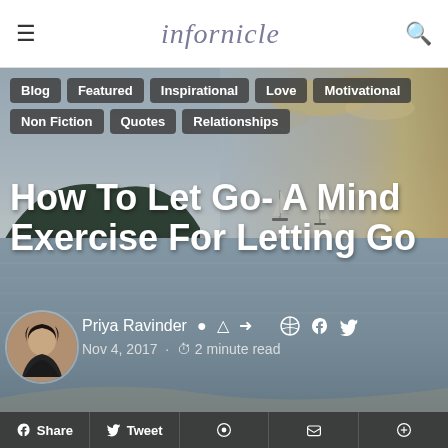infornicle
[Figure (photo): Coastal landscape with sea, distant hills, sailboats, and sunset sky serving as hero background image]
Blog
Featured
Inspirational
Love
Motivational
Non Fiction
Quotes
Relationships
How To Let Go- A Mind Exercise For Letting Go
Priya Ravinder
Nov 4, 2017 · 2 minute read
Share  Tweet